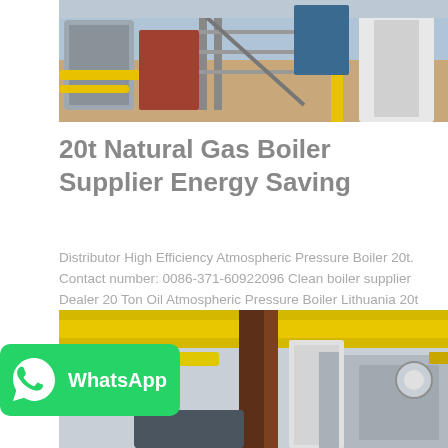[Figure (photo): Industrial boiler facility with yellow piping, red equipment, and metal scaffolding/stairs inside a factory]
20t Natural Gas Boiler Supplier Energy Saving
Distributor High Efficiency Atmospheric Pressure Boiler 20t. Contact number: 0086-371-60922096 Clean boiler supplier Dealer 20 Ton Oil Atmospheric Pressure Boiler Lithuania 20t gas fired Boiler Energy...
[Figure (photo): Industrial boiler plant interior with yellow overhead pipes, brown structural beams, white equipment, and pressure vessels]
WhatsApp